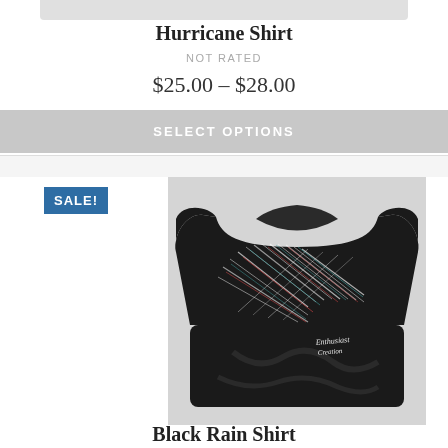[Figure (photo): Top portion of a shirt product image, cropped at top]
Hurricane Shirt
NOT RATED
$25.00 – $28.00
SELECT OPTIONS
SALE!
[Figure (photo): Black t-shirt with colorful diagonal rain/line pattern on the chest, script logo at bottom right]
Black Rain Shirt